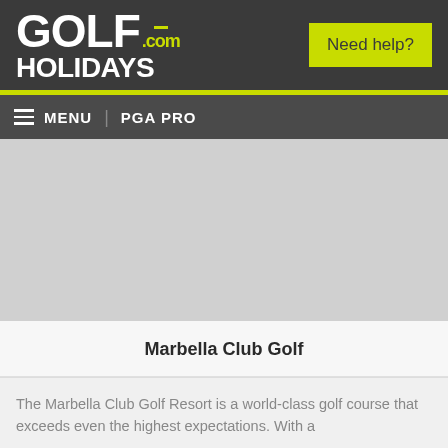[Figure (logo): GolfHolidays.com logo in white and yellow-green on dark background]
Need help?
MENU | PGA PRO
[Figure (photo): Light grey image placeholder for Marbella Club Golf course photo]
Marbella Club Golf
The Marbella Club Golf Resort is a world-class golf course that exceeds even the highest expectations. With a